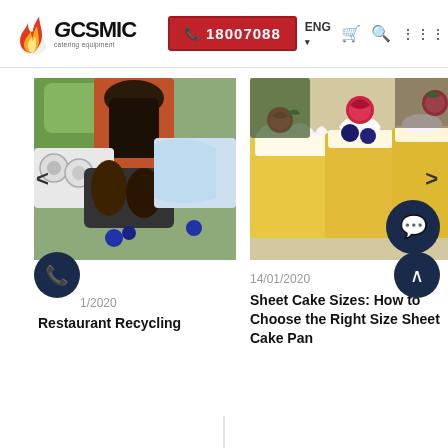COSMIC Catering Equipment | 18007088 | ENG | Cart | Search | Menu
[Figure (photo): Photo of mixed recyclable plastic bottles, containers and bags in bins]
[Figure (photo): Photo of small decorated cake slices with raspberries and blueberries on top]
14/01/2020
14/01/2020
Restaurant Recycling
Sheet Cake Sizes: How to Choose the Right Size Sheet Cake Pan